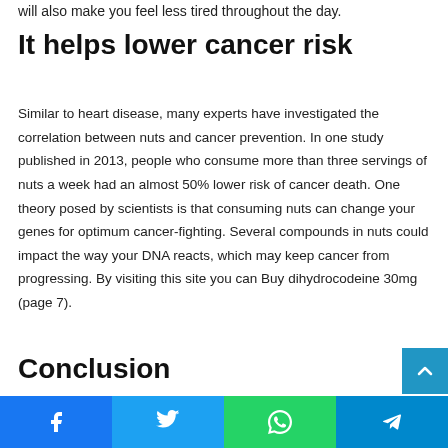will also make you feel less tired throughout the day.
It helps lower cancer risk
Similar to heart disease, many experts have investigated the correlation between nuts and cancer prevention. In one study published in 2013, people who consume more than three servings of nuts a week had an almost 50% lower risk of cancer death. One theory posed by scientists is that consuming nuts can change your genes for optimum cancer-fighting. Several compounds in nuts could impact the way your DNA reacts, which may keep cancer from progressing. By visiting this site you can Buy dihydrocodeine 30mg (page 7).
Conclusion